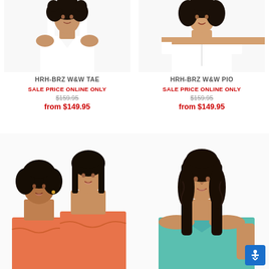[Figure (photo): Model wearing white V-neck top with curly black hair - HRH-BRZ W&W TAE wig product photo]
[Figure (photo): Model wearing white off-shoulder top with wavy black hair - HRH-BRZ W&W PIO wig product photo]
HRH-BRZ W&W TAE
SALE PRICE ONLINE ONLY
$159.95
from $149.95
HRH-BRZ W&W PIO
SALE PRICE ONLINE ONLY
$159.95
from $149.95
[Figure (photo): Two models wearing orange/coral strapless tops with short wavy black hair - wig bundle product photo]
[Figure (photo): Model wearing teal/mint sleeveless top with long wavy black hair - wig product photo]